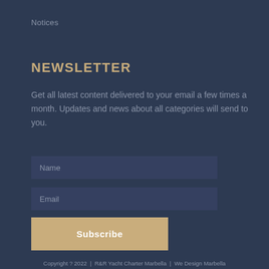Notices
NEWSLETTER
Get all latest content delivered to your email a few times a month. Updates and news about all categories will send to you.
Name
Email
Subscribe
Copyright ? 2022  |  R&R Yacht Charter Marbella  |  We Design Marbella